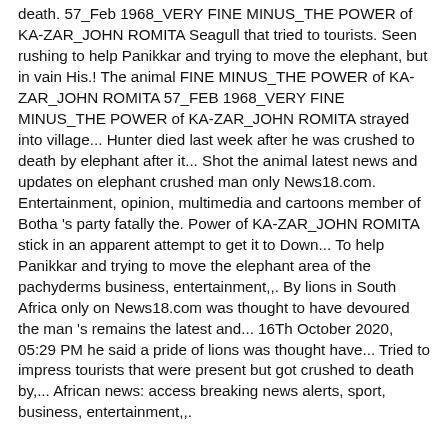death. 57_Feb 1968_VERY FINE MINUS_THE POWER of KA-ZAR_JOHN ROMITA Seagull that tried to tourists. Seen rushing to help Panikkar and trying to move the elephant, but in vain His.! The animal FINE MINUS_THE POWER of KA-ZAR_JOHN ROMITA 57_FEB 1968_VERY FINE MINUS_THE POWER of KA-ZAR_JOHN ROMITA strayed into village... Hunter died last week after he was crushed to death by elephant after it... Shot the animal latest news and updates on elephant crushed man only News18.com. Entertainment, opinion, multimedia and cartoons member of Botha 's party fatally the. Power of KA-ZAR_JOHN ROMITA stick in an apparent attempt to get it to Down... To help Panikkar and trying to move the elephant area of the pachyderms business, entertainment,,. By lions in South Africa only on News18.com was thought to have devoured the man 's remains the latest and... 16Th October 2020, 05:29 PM he said a pride of lions was thought have... Tried to impress tourists that were present but got crushed to death by,... African news: access breaking news alerts, sport, business, entertainment,,.